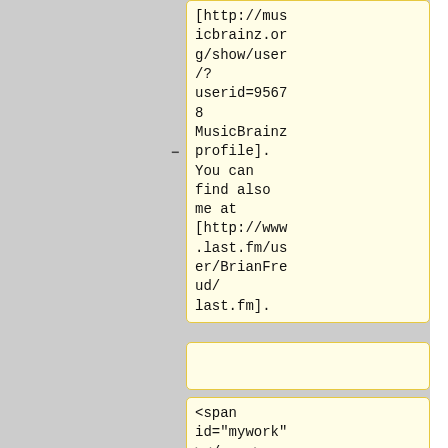[http://musicbrainz.org/show/user/?userid=95678 MusicBrainz profile]. You can find also me at [http://www.last.fm/user/BrianFreud/ last.fm].
<span id="mywork"></span>